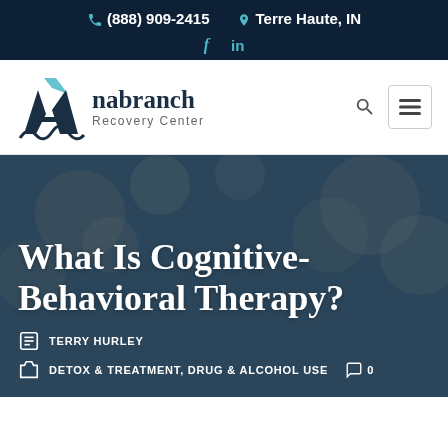(888) 909-2415   Terre Haute, IN   f   in
[Figure (logo): Anabranch Recovery Center logo with stylized A and mountain/wave icon]
What Is Cognitive-Behavioral Therapy?
TERRY HURLEY
DETOX & TREATMENT, DRUG & ALCOHOL USE   0